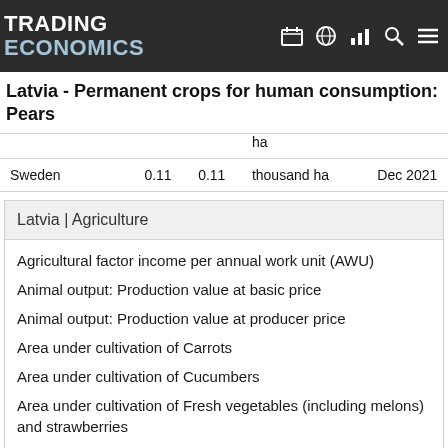TRADING ECONOMICS
Latvia - Permanent crops for human consumption: Pears
|  |  |  | ha |  |
| --- | --- | --- | --- | --- |
| Sweden | 0.11 | 0.11 | thousand ha | Dec 2021 |
Latvia | Agriculture
Agricultural factor income per annual work unit (AWU)
Animal output: Production value at basic price
Animal output: Production value at producer price
Area under cultivation of Carrots
Area under cultivation of Cucumbers
Area under cultivation of Fresh vegetables (including melons) and strawberries
Area under cultivation of Onions
Area under cultivation of Rape and turnip rape seeds
Barley: Area (cultivation/harvested/production)